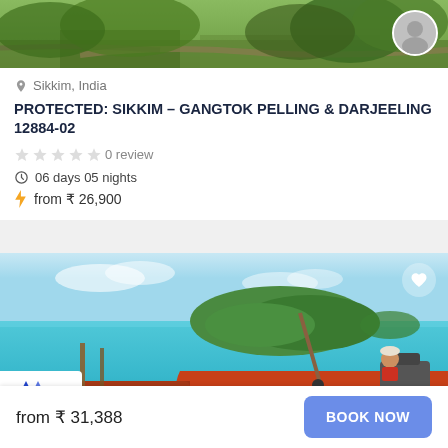[Figure (photo): Top partial image of green forested hillside/landscape in Sikkim with a grey avatar/profile circle icon in upper right]
Sikkim, India
PROTECTED: SIKKIM – GANGTOK PELLING & DARJEELING 12884-02
0 review
06 days 05 nights
from ₹ 26,900
[Figure (photo): Tropical beach scene with turquoise sea, green island in background, red/orange longtail boat with person in foreground]
from ₹ 31,388
BOOK NOW